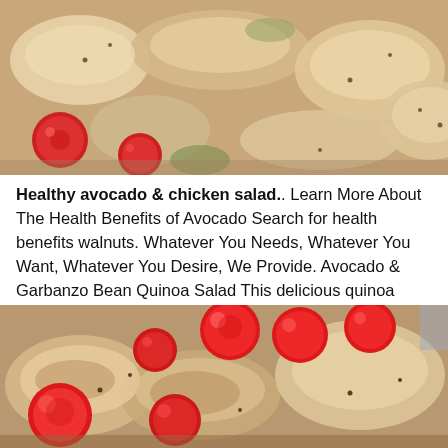[Figure (photo): Photo of a chicken salad with cherry tomatoes and sliced chicken pieces viewed from above]
Healthy avocado & chicken salad.. Learn More About The Health Benefits of Avocado Search for health benefits walnuts. Whatever You Needs, Whatever You Want, Whatever You Desire, We Provide. Avocado & Garbanzo Bean Quinoa Salad This delicious quinoa avocado salad is high in protein and holds well in the fridge for a few days.
[Figure (photo): Close-up photo of chicken salad with large bright red cherry tomatoes and sliced grilled chicken]